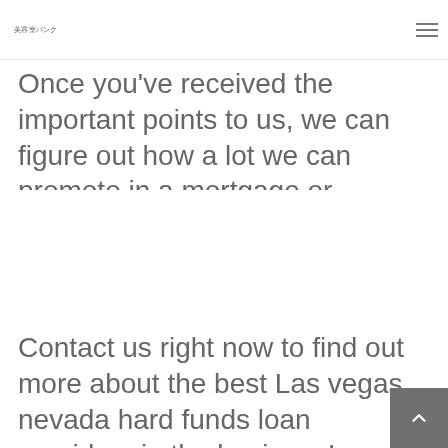美容室バンク
Once you've received the important points to us, we can figure out how a lot we can promote in a mortgage or exclusive money mortgage – and you'll get that provide quickly! It's your choice perform concur that you're into the mortgage we could offer.
Contact us right now to find out more about the best Las vegas, nevada hard funds loan providers in the business!